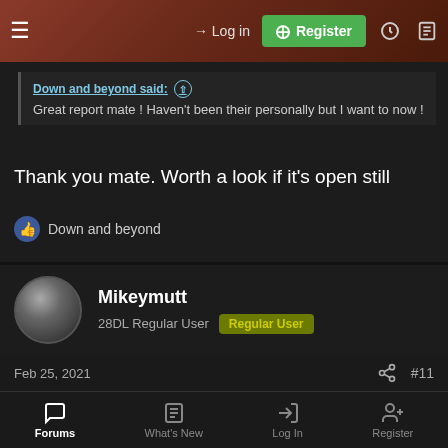Log in | Register
Down and beyond said: ↑
Great report mate ! Haven't been their personally but I want to now !
Thank you mate. Worth a look if it's open still
👍 Down and beyond
Mikeymutt
28DL Regular User  Regular User
Feb 25, 2021   #11
The Amateur Wanderer said: ↑
Forums  What's New  Log In  Register